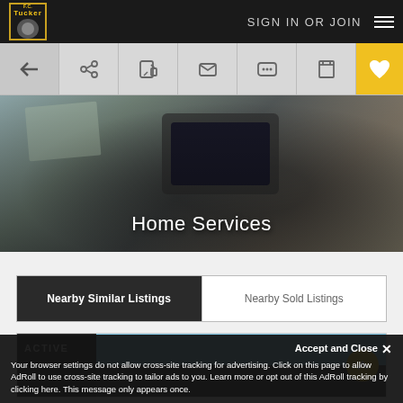F.C. Tucker | SIGN IN OR JOIN
[Figure (screenshot): Toolbar with navigation icons: back arrow, share, document, email, chat, print, and yellow heart/favorite button]
[Figure (photo): Hero banner image showing laptop on desk with text overlay 'Home Services']
Home Services
Nearby Similar Listings | Nearby Sold Listings
ACTIVE
Accept and Close ✕
Your browser settings do not allow cross-site tracking for advertising. Click on this page to allow AdRoll to use cross-site tracking to tailor ads to you. Learn more or opt out of this AdRoll tracking by clicking here. This message only appears once.